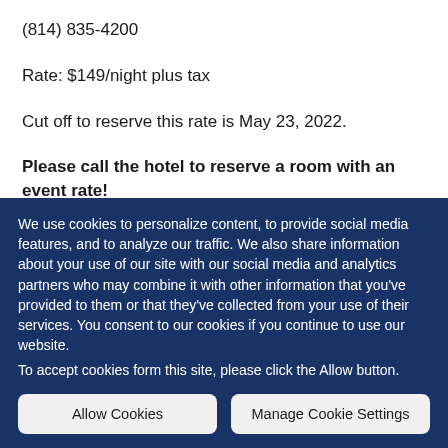(814) 835-4200
Rate: $149/night plus tax
Cut off to reserve this rate is May 23, 2022.
Please call the hotel to reserve a room with an event rate!
TownePlace Suites by Marriott
We use cookies to personalize content, to provide social media features, and to analyze our traffic. We also share information about your use of our site with our social media and analytics partners who may combine it with other information that you've provided to them or that they've collected from your use of their services. You consent to our cookies if you continue to use our website.
To accept cookies form this site, please click the Allow button.
Allow Cookies
Manage Cookie Settings